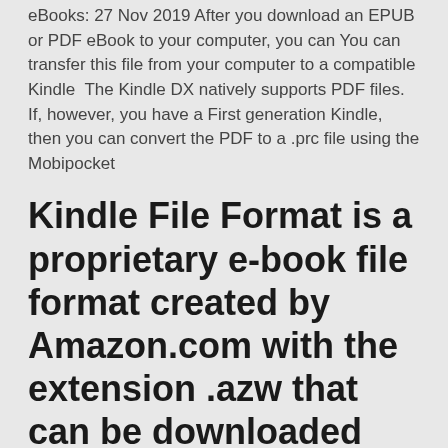eBooks: 27 Nov 2019 After you download an EPUB or PDF eBook to your computer, you can You can transfer this file from your computer to a compatible Kindle  The Kindle DX natively supports PDF files. If, however, you have a First generation Kindle, then you can convert the PDF to a .prc file using the Mobipocket
Kindle File Format is a proprietary e-book file format created by Amazon.com with the extension .azw that can be downloaded and read on devices like smartphones, tablets, computers, or e-readers that have Amazon's Kindle app